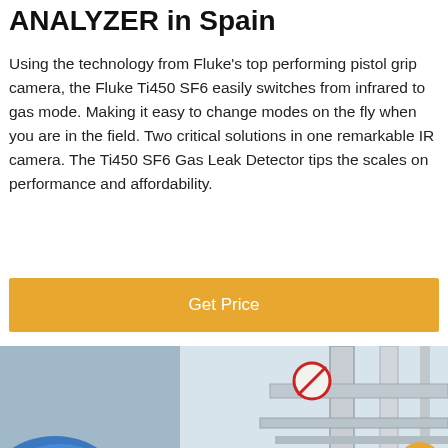ANALYZER in Spain
Using the technology from Fluke's top performing pistol grip camera, the Fluke Ti450 SF6 easily switches from infrared to gas mode. Making it easy to change modes on the fly when you are in the field. Two critical solutions in one remarkable IR camera. The Ti450 SF6 Gas Leak Detector tips the scales on performance and affordability.
Get Price
[Figure (photo): Industrial facility scene with pipes and safety signage; worker in blue helmet visible on the left side. Bottom bar with Leave Message and Chat Online options and a customer service avatar.]